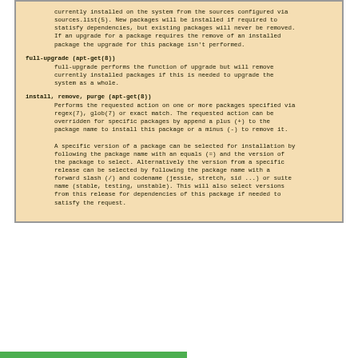currently installed on the system from the sources configured via sources.list(5). New packages will be installed if required to statisfy dependencies, but existing packages will never be removed. If an upgrade for a package requires the remove of an installed package the upgrade for this package isn't performed.
full-upgrade (apt-get(8))
    full-upgrade performs the function of upgrade but will remove currently installed packages if this is needed to upgrade the system as a whole.
install, remove, purge (apt-get(8))
    Performs the requested action on one or more packages specified via regex(7), glob(7) or exact match. The requested action can be overridden for specific packages by append a plus (+) to the package name to install this package or a minus (-) to remove it.

    A specific version of a package can be selected for installation by following the package name with an equals (=) and the version of the package to select. Alternatively the version from a specific release can be selected by following the package name with a forward slash (/) and codename (jessie, stretch, sid ...) or suite name (stable, testing, unstable). This will also select versions from this release for dependencies of this package if needed to satisfy the request.